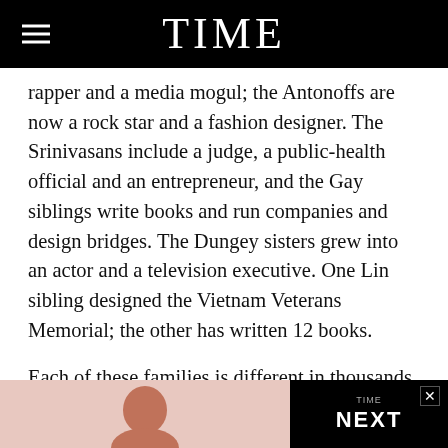TIME
rapper and a media mogul; the Antonoffs are now a rock star and a fashion designer. The Srinivasans include a judge, a public-health official and an entrepreneur, and the Gay siblings write books and run companies and design bridges. The Dungey sisters grew into an actor and a television executive. One Lin sibling designed the Vietnam Veterans Memorial; the other has written 12 books.
Each of these families is different in thousands of ways, from their ethnicities to their incomes to their sleepover policies. But we set out to find the ways they are the same.
[Figure (photo): Bottom advertisement bar showing a person's head silhouette against a light pink background on the left, and a black TIME 'NEXT' promotional area on the right with an X close button]